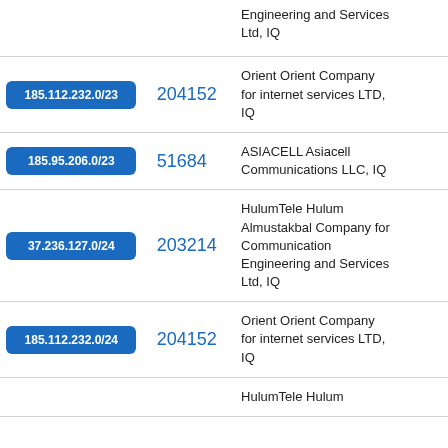| IP Range | ASN | Organization |
| --- | --- | --- |
| (partial) | 203214 | Engineering and Services Ltd, IQ |
| 185.112.232.0/23 | 204152 | Orient Orient Company for internet services LTD, IQ |
| 185.95.206.0/23 | 51684 | ASIACELL Asiacell Communications LLC, IQ |
| 37.236.127.0/24 | 203214 | HulumTele Hulum Almustakbal Company for Communication Engineering and Services Ltd, IQ |
| 185.112.232.0/24 | 204152 | Orient Orient Company for internet services LTD, IQ |
| (partial) | (partial) | HulumTele Hulum... |